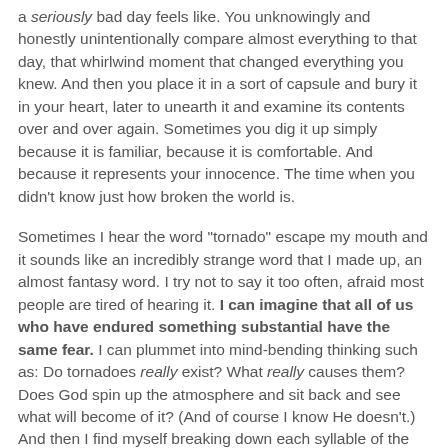a seriously bad day feels like. You unknowingly and honestly unintentionally compare almost everything to that day, that whirlwind moment that changed everything you knew. And then you place it in a sort of capsule and bury it in your heart, later to unearth it and examine its contents over and over again. Sometimes you dig it up simply because it is familiar, because it is comfortable. And because it represents your innocence. The time when you didn't know just how broken the world is.
Sometimes I hear the word "tornado" escape my mouth and it sounds like an incredibly strange word that I made up, an almost fantasy word. I try not to say it too often, afraid most people are tired of hearing it. I can imagine that all of us who have endured something substantial have the same fear. I can plummet into mind-bending thinking such as: Do tornadoes really exist? What really causes them? Does God spin up the atmosphere and sit back and see what will become of it? (And of course I know He doesn't.) And then I find myself breaking down each syllable of the word and then I end up in a puddle of linguistic over-analysis. (I do like words and their origin!)